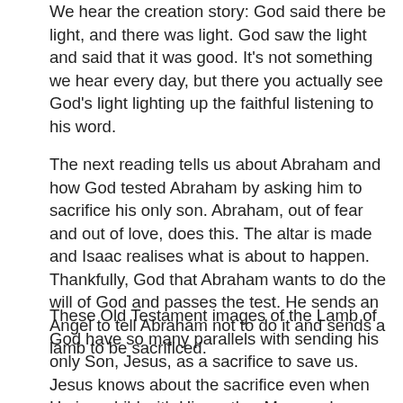We hear the creation story: God said there be light, and there was light. God saw the light and said that it was good. It's not something we hear every day, but there you actually see God's light lighting up the faithful listening to his word.
The next reading tells us about Abraham and how God tested Abraham by asking him to sacrifice his only son. Abraham, out of fear and out of love, does this. The altar is made and Isaac realises what is about to happen. Thankfully, God that Abraham wants to do the will of God and passes the test. He sends an Angel to tell Abraham not to do it and sends a lamb to be sacrificed.
These Old Testament images of the Lamb of God have so many parallels with sending his only Son, Jesus, as a sacrifice to save us. Jesus knows about the sacrifice even when He is a child with His mother Mary and stepfather Joseph. He knows about the Passion that He will have to endure and yet it falls to a man of...